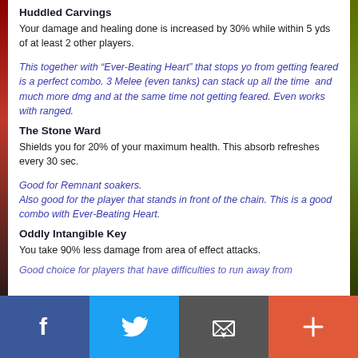Huddled Carvings
Your damage and healing done is increased by 30% while within 5 yds of at least 2 other players.
This together with “Ever-Beating Heart” that stops yo from getting feared is a perfect combo. 3 Melee (even tanks) can stack up all the time  and much more dmg and at the same time not getting feared. Even works with ranged.
The Stone Ward
Shields you for 20% of your maximum health. This absorb refreshes every 30 sec.
Good for Remnant soakers.
Also good for the player that stands in front of the chain. This is a good combo with Ever-Beating Heart.
Oddly Intangible Key
You take 90% less damage from area of effect attacks.
Good choice for players that have difficulties to run away from